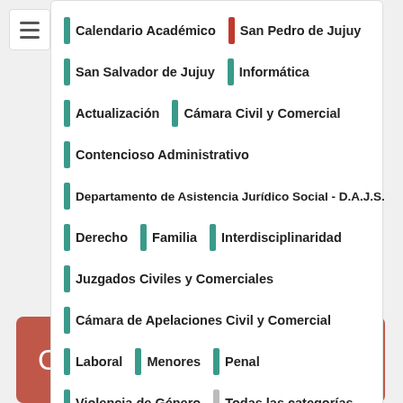Calendario Académico
San Pedro de Jujuy
San Salvador de Jujuy
Informática
Actualización
Cámara Civil y Comercial
Contencioso Administrativo
Departamento de Asistencia Jurídico Social - D.A.J.S.
Derecho
Familia
Interdisciplinaridad
Juzgados Civiles y Comerciales
Cámara de Apelaciones Civil y Comercial
Laboral
Menores
Penal
Violencia de Género
Todas las categorías...
Calendario 2019